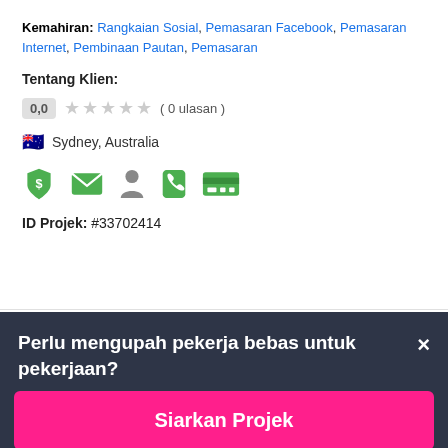Kemahiran: Rangkaian Sosial, Pemasaran Facebook, Pemasaran Internet, Pembinaan Pautan, Pemasaran
Tentang Klien:
0.0  ( 0 ulasan )
Sydney, Australia
[Figure (infographic): Row of 5 green verification/profile icons: shield with dollar sign, envelope, person silhouette, phone, credit card]
ID Projek: #33702414
Perlu mengupah pekerja bebas untuk pekerjaan?
Siarkan Projek